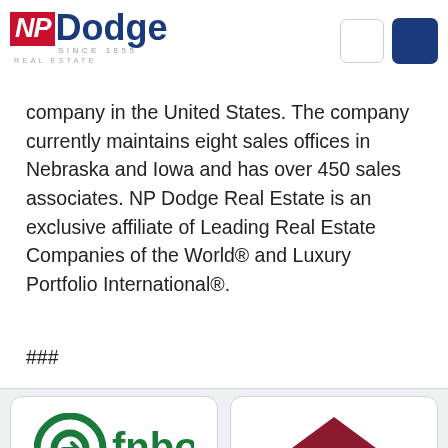[Figure (logo): NP Dodge Real Estate logo with red NP box and blue Dodge text, SINCE 1855, REAL ESTATE tagline]
company in the United States. The company currently maintains eight sales offices in Nebraska and Iowa and has over 450 sales associates. NP Dodge Real Estate is an exclusive affiliate of Leading Real Estate Companies of the World® and Luxury Portfolio International®.
###
[Figure (logo): fnbo MORTGAGE logo with green circular icon and green text]
PERSONALIZED
[Figure (logo): 2-10 HOME BUYERS WARRANTY logo with dark red house icon]
PROTECT YOUR